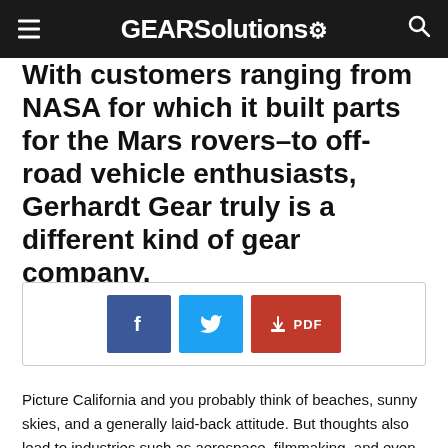GEARSolutions
With customers ranging from NASA for which it built parts for the Mars rovers–to off-road vehicle enthusiasts, Gerhardt Gear truly is a different kind of gear company.
[Figure (infographic): Share buttons: Facebook (blue), Twitter (cyan), PDF download (red)]
Picture California and you probably think of beaches, sunny skies, and a generally laid-back attitude. But thoughts also lead to industries such as aerospace, filmmaking, and even gear manufacturing. Gerhardt Gear, which is located in Burbank, is the perfect synthesis of all these images.